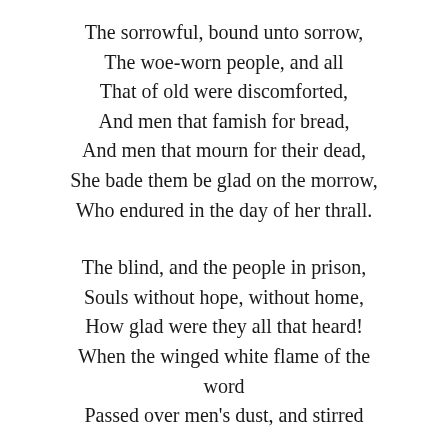The sorrowful, bound unto sorrow,
The woe-worn people, and all
That of old were discomforted,
And men that famish for bread,
And men that mourn for their dead,
She bade them be glad on the morrow,
Who endured in the day of her thrall.
The blind, and the people in prison,
Souls without hope, without home,
How glad were they all that heard!
When the winged white flame of the word
Passed over men's dust, and stirred